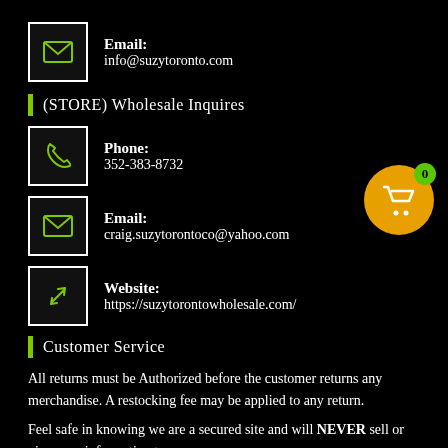Email: info@suzytoronto.com
(STORE) Wholesale Inquires
Phone: 352-383-8732
Email: craig.suzytorontoco@yahoo.com
Website: https://suzytorontowholesale.com/
Customer Service
All returns must be Authorized before the customer returns any merchandise. A restocking fee may be applied to any return.
Feel safe in knowing we are a secured site and will NEVER sell or give your information to anyone.